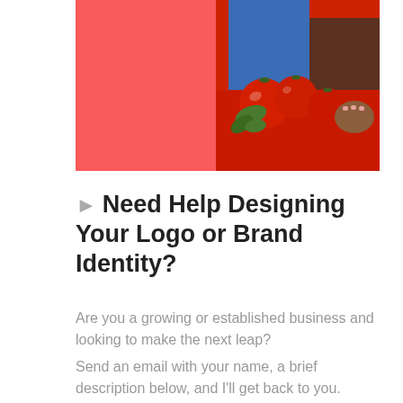[Figure (photo): Photo of a person in a blue apron holding red tomatoes against a red background, with fresh herbs visible. Left portion is a solid red/coral color block.]
Need Help Designing Your Logo or Brand Identity?
Are you a growing or established business and looking to make the next leap?
Send an email with your name, a brief description below, and I'll get back to you.
Your name